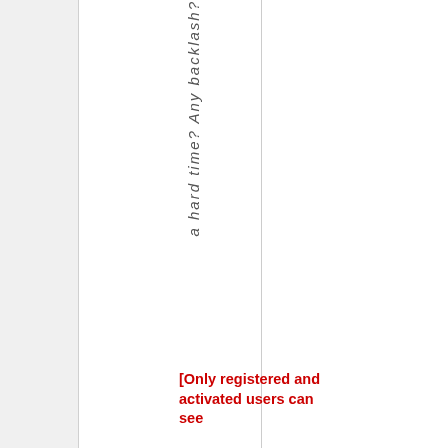a hard time? Any backlash?
[Only registered and activated users can see